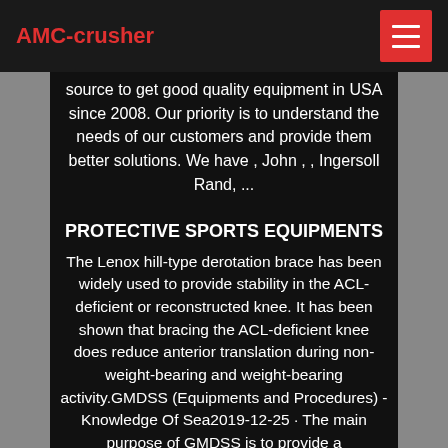AMC-crusher
source to get good quality equipment in USA since 2008. Our priority is to understand the needs of our customers and provide them better solutions. We have , John , , Ingersoll Rand, ...
PROTECTIVE SPORTS EQUIPMENTS
The Lenox hill-type derotation brace has been widely used to provide stability in the ACL-deficient or reconstructed knee. It has been shown that bracing the ACL-deficient knee does reduce anterior translation during non-weight-bearing and weight-bearing activity.GMDSS (Equipments and Procedures) - Knowledge Of Sea2019-12-25 · The main purpose of GMDSS is to provide a comprehensive communication system for search and rescue operations